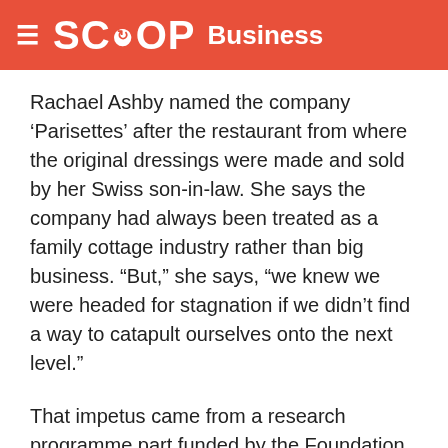SCOOP Business
Rachael Ashby named the company ‘Parisettes’ after the restaurant from where the original dressings were made and sold by her Swiss son-in-law. She says the company had always been treated as a family cottage industry rather than big business. “But,” she says, “we knew we were headed for stagnation if we didn’t find a way to catapult ourselves onto the next level.”
That impetus came from a research programme part funded by the Foundation for Research, Science and Technology through its Technology New Zealand scheme. The results were beyond their wildest expectations and according to Rachael ‘took the